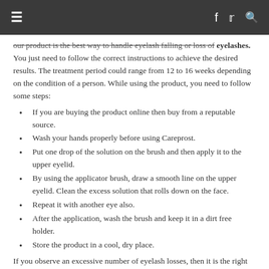≡  f  🐦  🔍
our product is the best way to handle eyelash falling or loss of eyelashes. You just need to follow the correct instructions to achieve the desired results. The treatment period could range from 12 to 16 weeks depending on the condition of a person. While using the product, you need to follow some steps:
If you are buying the product online then buy from a reputable source.
Wash your hands properly before using Careprost.
Put one drop of the solution on the brush and then apply it to the upper eyelid.
By using the applicator brush, draw a smooth line on the upper eyelid. Clean the excess solution that rolls down on the face.
Repeat it with another eye also.
After the application, wash the brush and keep it in a dirt free holder.
Store the product in a cool, dry place.
If you observe an excessive number of eyelash losses, then it is the right time to seek medical attention. Careprost comes out